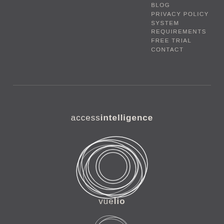BLOG
PRIVACY POLICY
SYSTEM REQUIREMENTS
FREE TRIAL
CONTACT
[Figure (logo): access intelligence text logo - 'access' in light weight and 'intelligence' in bold]
[Figure (logo): Vuelio circular swirl logo mark made of overlapping circles]
vuelio
[Figure (logo): Partial circular swirl logo at bottom of page, similar to Vuelio logo]